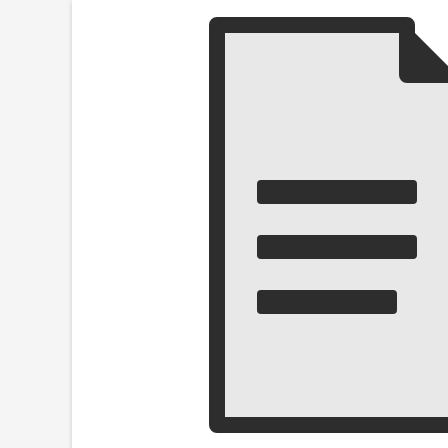[Figure (illustration): Document icon — a stylized page with folded corner and three horizontal lines representing text]
Teaching material, university events, conferences, and lectures
University photographs
University photographs
Convocation recordings
Convocation recordings